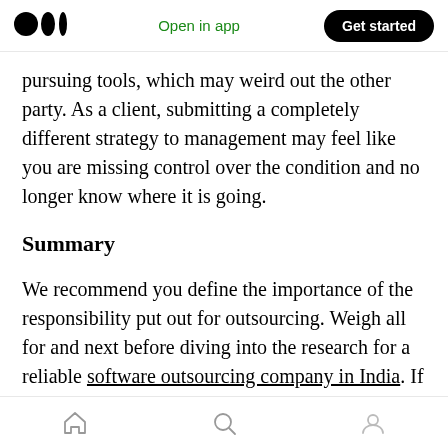Medium logo | Open in app | Get started
pursuing tools, which may weird out the other party. As a client, submitting a completely different strategy to management may feel like you are missing control over the condition and no longer know where it is going.
Summary
We recommend you define the importance of the responsibility put out for outsourcing. Weigh all for and next before diving into the research for a reliable software outsourcing company in India. If the project is of essential value, you will need
Home | Search | Profile